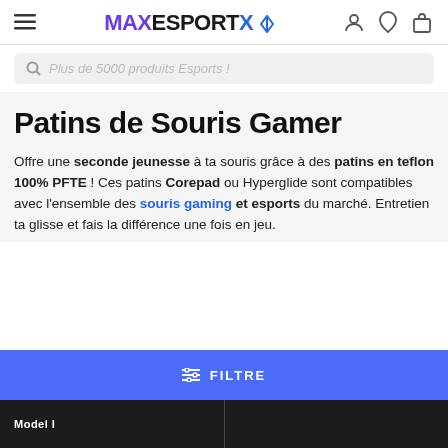MAXESPORTX
Plus de 5000 produits Esports !
Patins de Souris Gamer
Offre une seconde jeunesse à ta souris grâce à des patins en teflon 100% PFTE ! Ces patins Corepad ou Hyperglide sont compatibles avec l'ensemble des souris gaming et esports du marché. Entretien ta glisse et fais la différence une fois en jeu.
FILTRE
Model I